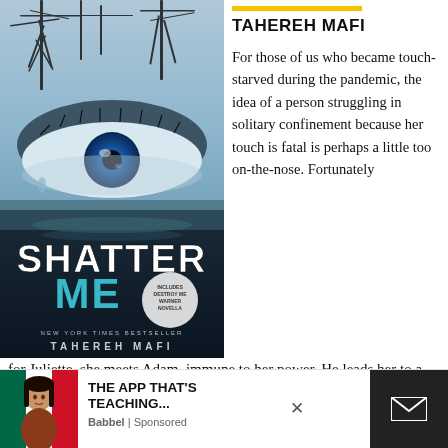[Figure (photo): Book cover of 'Shatter Me' by Tahereh Mafi — a close-up of a blue eye with bare trees and sky reflected, with the title 'SHATTER ME' in large letters and author name at the bottom. Includes badge saying 'Includes Destroy Me Warner Novella'. Subtitle 'NEW YORK TIMES BESTSELLER'.]
TAHEREH MAFI
For those of us who became touch-starved during the pandemic, the idea of a person struggling in solitary confinement because her touch is fatal is perhaps a little too on-the-nose. Fortunately for Juliette, she meets Adam, immune to her power. He leads her to a resistance against the dystopian learns she's not
[Figure (screenshot): Advertisement banner at the bottom. Left side shows a woman's face with a Mexican flag background. Center text reads 'THE APP THAT'S TEACHING...' with 'Babbel | Sponsored' below. An X close button is visible. Right side is a dark box with an email/envelope icon.]